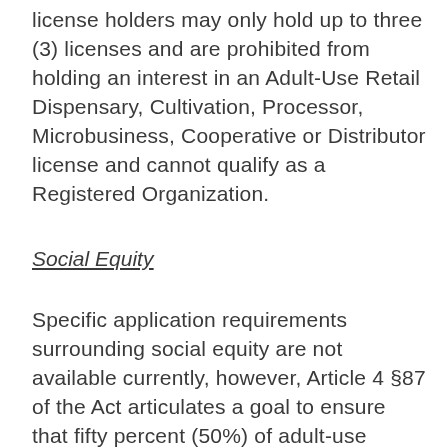license holders may only hold up to three (3) licenses and are prohibited from holding an interest in an Adult-Use Retail Dispensary, Cultivation, Processor, Microbusiness, Cooperative or Distributor license and cannot qualify as a Registered Organization.
Social Equity
Specific application requirements surrounding social equity are not available currently, however, Article 4 §87 of the Act articulates a goal to ensure that fifty percent (50%) of adult-use cannabis licenses are awarded to social and economic equity applicants and to ensure the inclusion of:
Members of communities